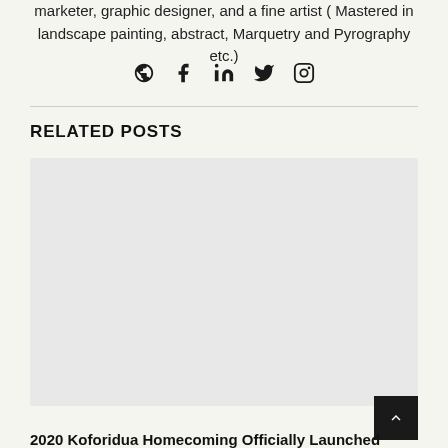marketer, graphic designer, and a fine artist ( Mastered in landscape painting, abstract, Marquetry and Pyrography etc.)
[Figure (infographic): Row of social media icons: globe/website, Facebook f, LinkedIn in, Twitter bird, Instagram camera]
RELATED POSTS
[Figure (photo): Large light gray image placeholder for a related post thumbnail]
2020 Koforidua Homecoming Officially Launched